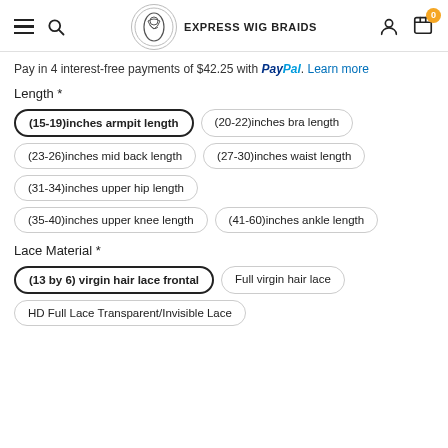EXPRESS WIG BRAIDS
Pay in 4 interest-free payments of $42.25 with PayPal. Learn more
Length *
(15-19)inches armpit length
(20-22)inches bra length
(23-26)inches mid back length
(27-30)inches waist length
(31-34)inches upper hip length
(35-40)inches upper knee length
(41-60)inches ankle length
Lace Material *
(13 by 6) virgin hair lace frontal
Full virgin hair lace
HD Full Lace Transparent/Invisible Lace